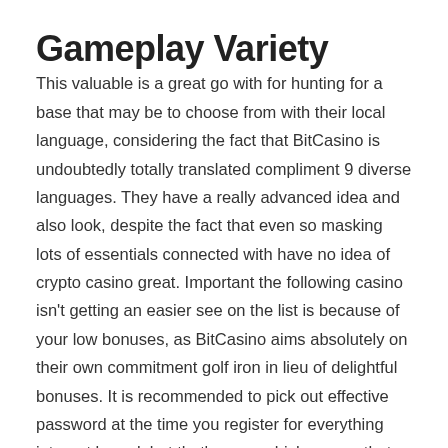Gameplay Variety
This valuable is a great go with for hunting for a base that may be to choose from with their local language, considering the fact that BitCasino is undoubtedly totally translated compliment 9 diverse languages. They have a really advanced idea and also look, despite the fact that even so masking lots of essentials connected with have no idea of crypto casino great. Important the following casino isn't getting an easier see on the list is because of your low bonuses, as BitCasino aims absolutely on their own commitment golf iron in lieu of delightful bonuses. It is recommended to pick out effective password at the time you register for everything internet based, but that's more which means that the situation while financial purchases tend to be involved. Therefore you need to consider some sort of